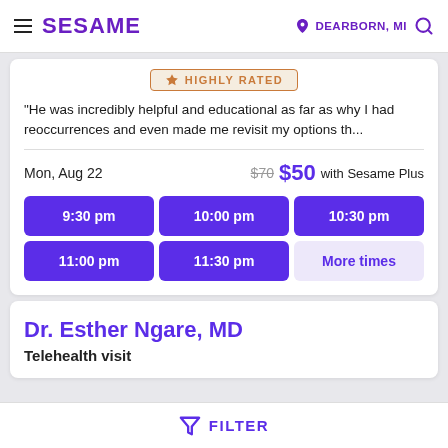SESAME   DEARBORN, MI
[Figure (other): Highly Rated badge with star icon]
"He was incredibly helpful and educational as far as why I had reoccurrences and even made me revisit my options th...
Mon, Aug 22   $70  $50 with Sesame Plus
9:30 pm
10:00 pm
10:30 pm
11:00 pm
11:30 pm
More times
Dr. Esther Ngare, MD
Telehealth visit
FILTER